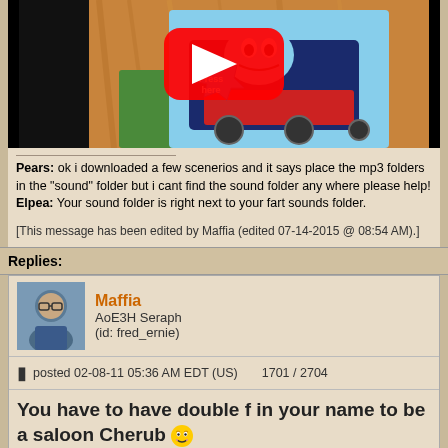[Figure (screenshot): YouTube video thumbnail showing a Thomas the Tank Engine book with 'Press here' button and YouTube play button overlay]
Pears: ok i downloaded a few scenerios and it says place the mp3 folders in the "sound" folder but i cant find the sound folder any where please help!
Elpea: Your sound folder is right next to your fart sounds folder.
[This message has been edited by Maffia (edited 07-14-2015 @ 08:54 AM).]
Replies:
Maffia
AoE3H Seraph
(id: fred_ernie)
posted 02-08-11 05:36 AM EDT (US)    1701 / 2704
You have to have double f in your name to be a saloon Cherub 😁
This month I have mostly been playing Zelda Breath of the Wild
Steam - Maffia GFWL - Maffia01 YouTube - HGMaffia Twitter - @HGMaffia
Age of Empires 3 Heaven Seraph
What is this life if, full of care, We have no time to stand and stare.
[This message hasn't been edited by fred_ernie (or Maffia) (not edited 12-29-2005 @ 09:57 AM).]